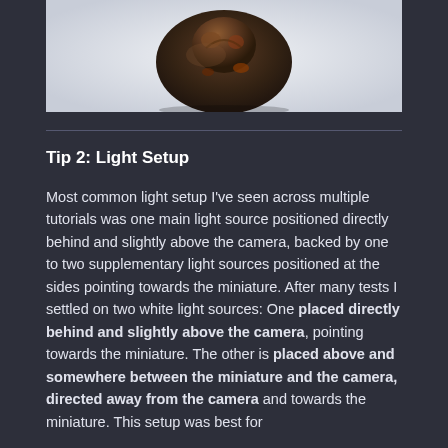[Figure (photo): A painted miniature figurine viewed from above, showing a dark oval base with decorative details, on a light gray/white background.]
Tip 2: Light Setup
Most common light setup I've seen across multiple tutorials was one main light source positioned directly behind and slightly above the camera, backed by one to two supplementary light sources positioned at the sides pointing towards the miniature. After many tests I settled on two white light sources: One placed directly behind and slightly above the camera, pointing towards the miniature. The other is placed above and somewhere between the miniature and the camera, directed away from the camera and towards the miniature. This setup was best for